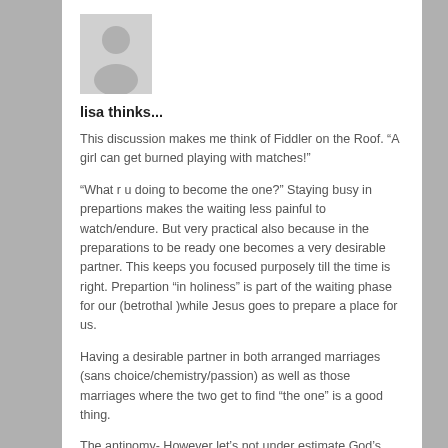[Figure (illustration): Generic user avatar silhouette in gray]
lisa thinks...
This discussion makes me think of Fiddler on the Roof. “A girl can get burned playing with matches!”
“What r u doing to become the one?” Staying busy in prepartions makes the waiting less painful to watch/endure. But very practical also because in the preparations to be ready one becomes a very desirable partner. This keeps you focused purposely till the time is right. Prepartion “in holiness” is part of the waiting phase for our (betrothal )while Jesus goes to prepare a place for us.
Having a desirable partner in both arranged marriages (sans choice/chemistry/passion) as well as those marriages where the two get to find “the one” is a good thing.
The antinomy- However let’s not under estimate God’s power of providence! He knows the desires of our hearts. The holy longing for perfection, idealism (fantasy??), the soulmate, the happily everafter